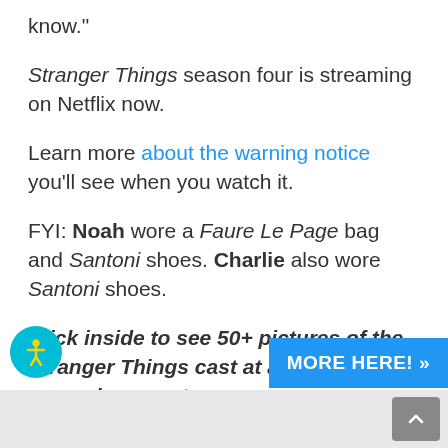know."
Stranger Things season four is streaming on Netflix now.
Learn more about the warning notice you'll see when you watch it.
FYI: Noah wore a Faure Le Page bag and Santoni shoes. Charlie also wore Santoni shoes.
Click inside to see 50+ pictures of the Stranger Things cast at a special screening event...